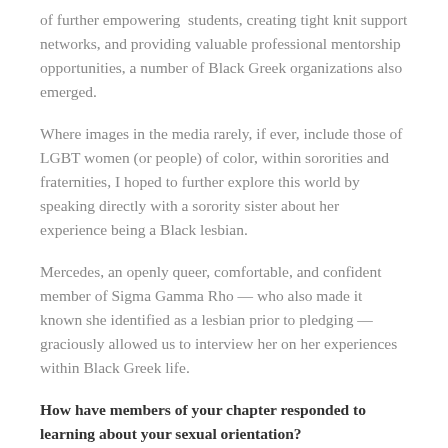of further empowering students, creating tight knit support networks, and providing valuable professional mentorship opportunities, a number of Black Greek organizations also emerged.
Where images in the media rarely, if ever, include those of LGBT women (or people) of color, within sororities and fraternities, I hoped to further explore this world by speaking directly with a sorority sister about her experience being a Black lesbian.
Mercedes, an openly queer, comfortable, and confident member of Sigma Gamma Rho — who also made it known she identified as a lesbian prior to pledging — graciously allowed us to interview her on her experiences within Black Greek life.
How have members of your chapter responded to learning about your sexual orientation?